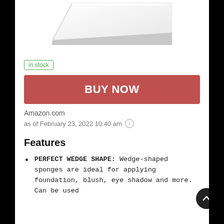[Figure (photo): White wedge-shaped makeup sponge product image on white background]
in stock
BUY NOW
Amazon.com
as of February 23, 2022 10:40 am
Features
PERFECT WEDGE SHAPE: Wedge-shaped sponges are ideal for applying foundation, blush, eye shadow and more. Can be used